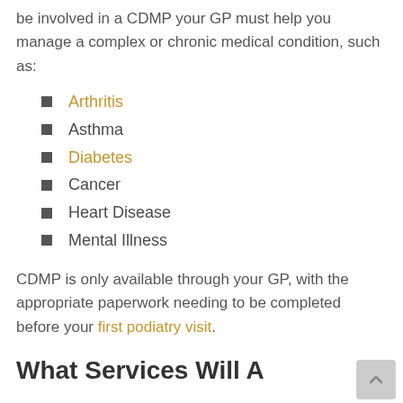be involved in a CDMP your GP must help you manage a complex or chronic medical condition, such as:
Arthritis
Asthma
Diabetes
Cancer
Heart Disease
Mental Illness
CDMP is only available through your GP, with the appropriate paperwork needing to be completed before your first podiatry visit.
What Services Will A